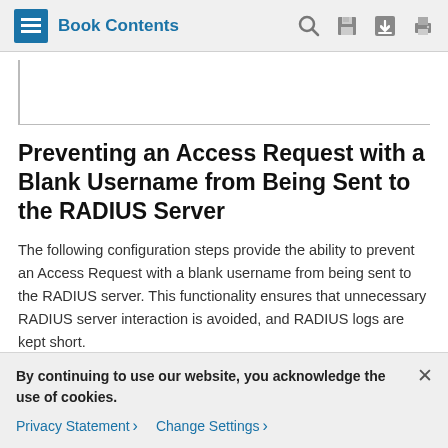Book Contents
Preventing an Access Request with a Blank Username from Being Sent to the RADIUS Server
The following configuration steps provide the ability to prevent an Access Request with a blank username from being sent to the RADIUS server. This functionality ensures that unnecessary RADIUS server interaction is avoided, and RADIUS logs are kept short.
By continuing to use our website, you acknowledge the use of cookies.
Privacy Statement > Change Settings >